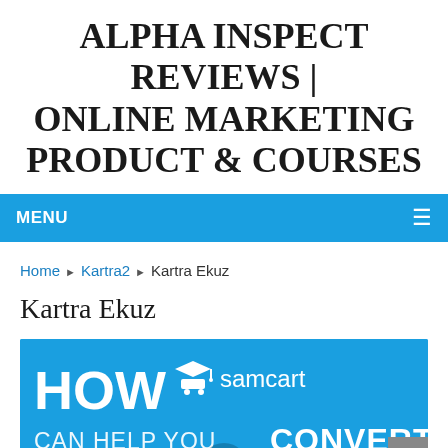ALPHA INSPECT REVIEWS | ONLINE MARKETING PRODUCT & COURSES
MENU
Home ▶ Kartra2 ▶ Kartra Ekuz
Kartra Ekuz
[Figure (screenshot): Banner image showing 'HOW samcart CAN HELP YOU CONVERT' with a play button, on a blue background]